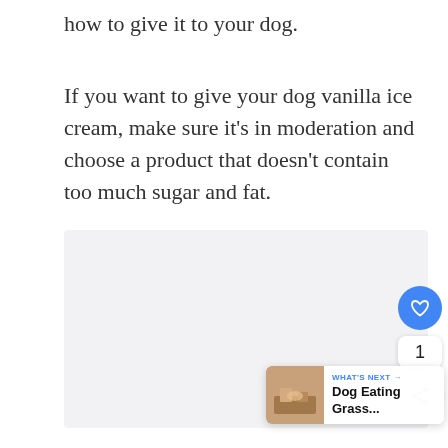how to give it to your dog.
If you want to give your dog vanilla ice cream, make sure it’s in moderation and choose a product that doesn’t contain too much sugar and fat.
[Figure (other): Gray placeholder box for an image or advertisement]
[Figure (infographic): UI overlay with like button (heart icon, blue circle), count badge showing '1', share button, and a 'What's Next' card showing 'Dog Eating Grass...']